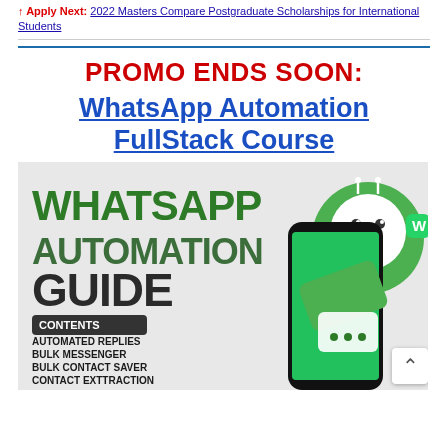↑ Apply Next: 2022 Masters Compare Postgraduate Scholarships for International Students
PROMO ENDS SOON: WhatsApp Automation FullStack Course
[Figure (illustration): WhatsApp Automation Guide promotional image showing large bold text 'WHATSAPP AUTOMATION GUIDE' in dark and green colors, with a contents section listing: AUTOMATED REPLIES, BULK MESSENGER, BULK CONTACT SAVER, CONTACT EXTTRACTION, GROUP CLASS AUTOMATION. Includes graphics of a smartphone with WhatsApp and a robot/bot character icon in green circle.]